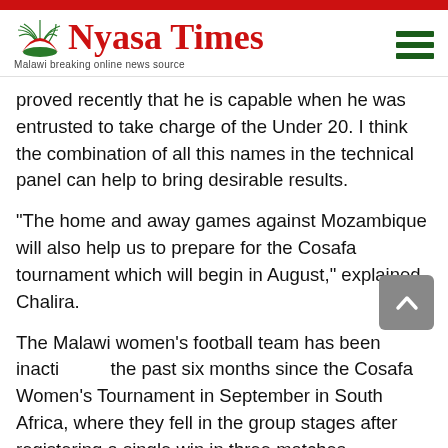[Figure (logo): Nyasa Times logo with red crescent/arch icon and tagline 'Malawi breaking online news source']
proved recently that he is capable when he was entrusted to take charge of the Under 20. I think the combination of all this names in the technical panel can help to bring desirable results.
“The home and away games against Mozambique will also help us to prepare for the Cosafa tournament which will begin in August,” explained Chalira.
The Malawi women’s football team has been inacti… the past six months since the Cosafa Women’s Tournament in September in South Africa, where they fell in the group stages after registering a single win in three matches.
The new technical panel will be tasked to identify players…